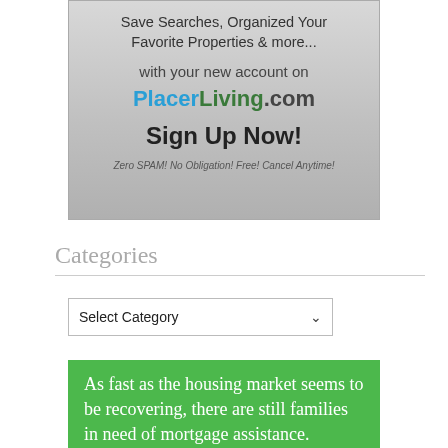[Figure (infographic): Advertisement banner with gray gradient background promoting PlacerLiving.com account sign-up]
Categories
[Figure (other): Dropdown select box labeled 'Select Category']
As fast as the housing market seems to be recovering, there are still families in need of mortgage assistance.